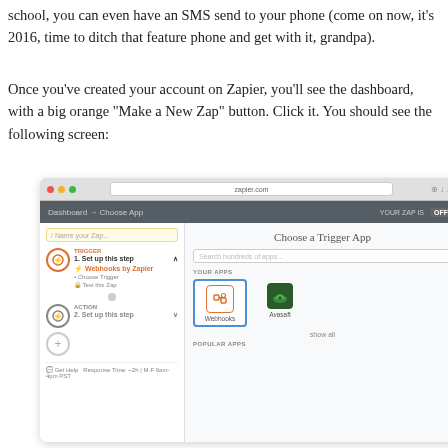school, you can even have an SMS send to your phone (come on now, it's 2016, time to ditch that feature phone and get with it, grandpa).
Once you've created your account on Zapier, you'll see the dashboard, with a big orange "Make a New Zap" button. Click it. You should see the following screen:
[Figure (screenshot): A screenshot of the Zapier web application showing the 'Choose App' dashboard. The left panel shows a Zap workflow with a Trigger step ('Set up this step' with 'Webhooks by Zapier' selected) and an Action step ('Set up this step'). The right panel shows 'Choose a Trigger App' with a search bar, 'YOUR APPS' section showing Webhooks and Avasaft app icons, and a 'POPULAR APPS' section.]